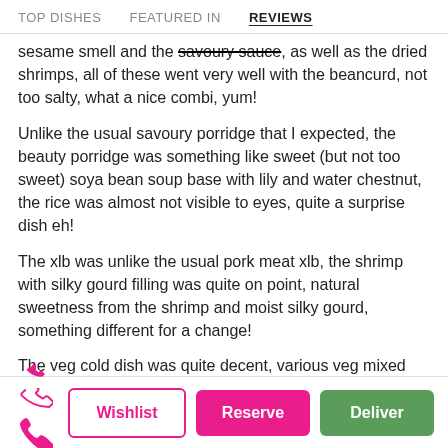TOP DISHES   FEATURED IN   REVIEWS
sesame smell and the savoury sauce, as well as the dried shrimps, all of these went very well with the beancurd, not too salty, what a nice combi, yum!
Unlike the usual savoury porridge that I expected, the beauty porridge was something like sweet (but not too sweet) soya bean soup base with lily and water chestnut, the rice was almost not visible to eyes, quite a surprise dish eh!
The xlb was unlike the usual pork meat xlb, the shrimp with silky gourd filling was quite on point, natural sweetness from the shrimp and moist silky gourd, something different for a change!
The veg cold dish was quite decent, various veg mixed together with sesame oil and not too salty, feeling healthy eating this~
The roast duck was quite decent, quite tender, no
Call   Wishlist   Reserve   Deliver